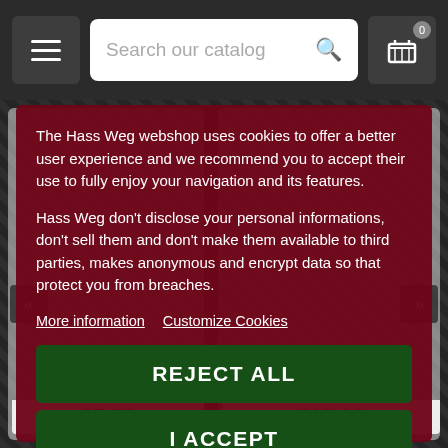Search our catalog
The Hass Weg webshop uses cookies to offer a better user experience and we recommend you to accept their use to fully enjoy your navigation and its features.

Hass Weg don't disclose your personal informations, don't sell them and don't make them available to third parties, makes anonymous and encrypt data so that protect you from breaches.
More information   Customize Cookies
REJECT ALL
I ACCEPT
€7.80
€10.00